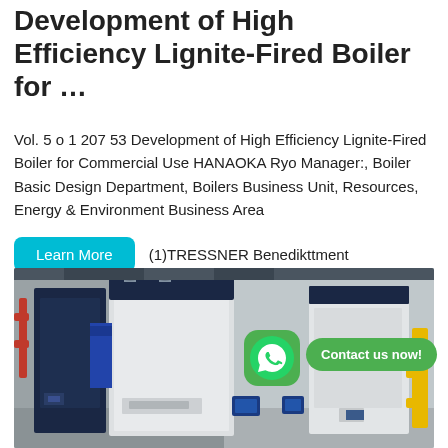Development of High Efficiency Lignite-Fired Boiler for …
Vol. 5 o 1 207 53 Development of High Efficiency Lignite-Fired Boiler for Commercial Use HANAOKA Ryo Manager:, Boiler Basic Design Department, Boilers Business Unit, Resources, Energy & Environment Business Area
(1)TRESSNER Benedikttment
[Figure (photo): Industrial boiler equipment showing navy blue and white boiler units installed in an indoor facility with yellow pipe fittings and industrial infrastructure visible.]